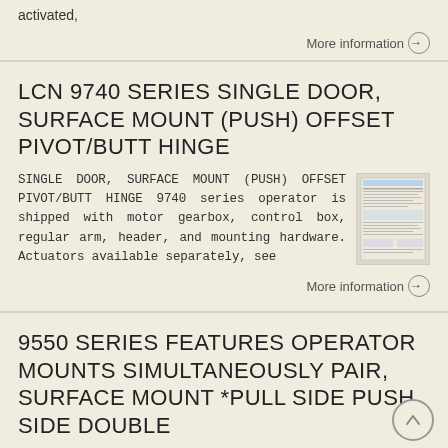activated,
More information →
LCN 9740 SERIES SINGLE DOOR, SURFACE MOUNT (PUSH) OFFSET PIVOT/BUTT HINGE
SINGLE DOOR, SURFACE MOUNT (PUSH) OFFSET PIVOT/BUTT HINGE 9740 series operator is shipped with motor gearbox, control box, regular arm, header, and mounting hardware. Actuators available separately, see
[Figure (photo): Product document/spec sheet thumbnail image for LCN 9740 series door operator]
More information →
9550 SERIES FEATURES OPERATOR MOUNTS SIMULTANEOUSLY PAIR, SURFACE MOUNT *PULL SIDE PUSH SIDE DOUBLE